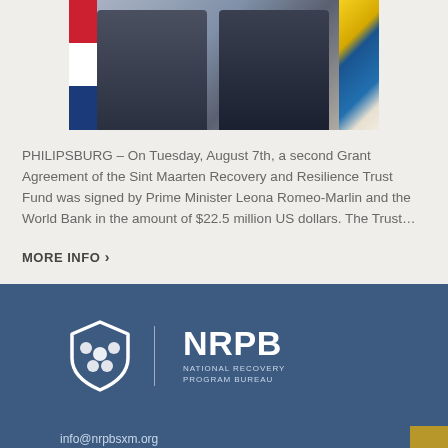[Figure (photo): Two people in suits standing in front of Dutch and Sint Maarten flags]
PHILIPSBURG – On Tuesday, August 7th, a second Grant Agreement of the Sint Maarten Recovery and Resilience Trust Fund was signed by Prime Minister Leona Romeo-Marlin and the World Bank in the amount of $22.5 million US dollars. The Trust…
MORE INFO ›
[Figure (logo): NRPB – National Recovery Program Bureau logo with shield icon]
info@nrpbsxm.org